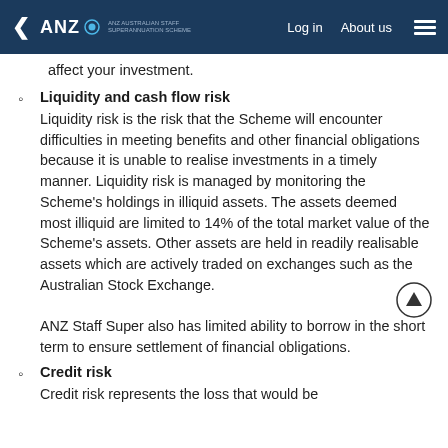ANZ Australian Staff Super | Log in | About us
affect your investment.
Liquidity and cash flow risk
Liquidity risk is the risk that the Scheme will encounter difficulties in meeting benefits and other financial obligations because it is unable to realise investments in a timely manner. Liquidity risk is managed by monitoring the Scheme's holdings in illiquid assets. The assets deemed most illiquid are limited to 14% of the total market value of the Scheme's assets. Other assets are held in readily realisable assets which are actively traded on exchanges such as the Australian Stock Exchange.

ANZ Staff Super also has limited ability to borrow in the short term to ensure settlement of financial obligations.
Credit risk
Credit risk represents the loss that would be